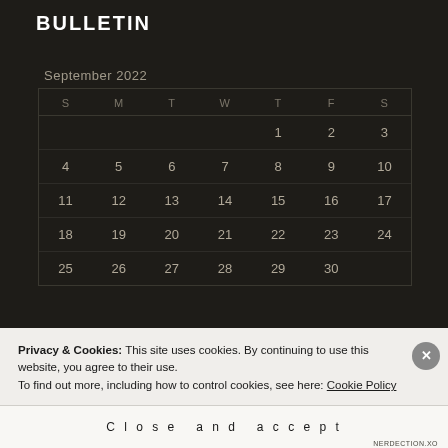BULLETIN
September 2022
| S | M | T | W | T | F | S |
| --- | --- | --- | --- | --- | --- | --- |
|  |  |  |  | 1 | 2 | 3 |
| 4 | 5 | 6 | 7 | 8 | 9 | 10 |
| 11 | 12 | 13 | 14 | 15 | 16 | 17 |
| 18 | 19 | 20 | 21 | 22 | 23 | 24 |
| 25 | 26 | 27 | 28 | 29 | 30 |  |
Privacy & Cookies: This site uses cookies. By continuing to use this website, you agree to their use.
To find out more, including how to control cookies, see here: Cookie Policy
Close and accept